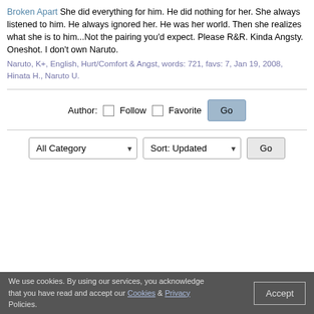Broken Apart She did everything for him. He did nothing for her. She always listened to him. He always ignored her. He was her world. Then she realizes what she is to him...Not the pairing you'd expect. Please R&R. Kinda Angsty. Oneshot. I don't own Naruto.
Naruto, K+, English, Hurt/Comfort & Angst, words: 721, favs: 7, Jan 19, 2008, Hinata H., Naruto U.
Author: Follow Favorite Go
All Category | Sort: Updated | Go
We use cookies. By using our services, you acknowledge that you have read and accept our Cookies & Privacy Policies. Accept